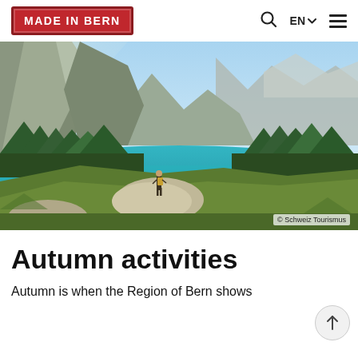[Figure (logo): Made in Bern red badge logo]
[Figure (photo): A hiker standing on a rock overlooking a turquoise alpine lake surrounded by mountains and pine forests. © Schweiz Tourismus]
Autumn activities
Autumn is when the Region of Bern shows